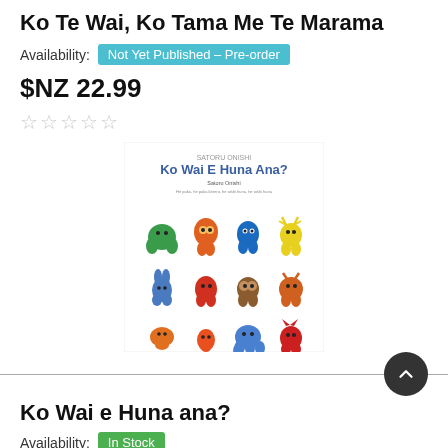Ko Te Wai, Ko Tama Me Te Marama
Availability: Not Yet Published – Pre-order
$NZ 22.99
☆☆☆☆☆
[Figure (illustration): Book cover of 'Ko Wai E Huna Ana?' by Satoru Onishi, showing colorful cartoon animals in a 3x3 grid on a white background. Top row: green hippo, orange owl, blue bird, yellow deer. Middle row: blue rabbit, red fox, brown bear, orange yak. Bottom row: orange hedgehog, orange drop/teardrop, blue elephant, red cat.]
Ko Wai e Huna ana?
Availability: In Stock
$NZ 22.99